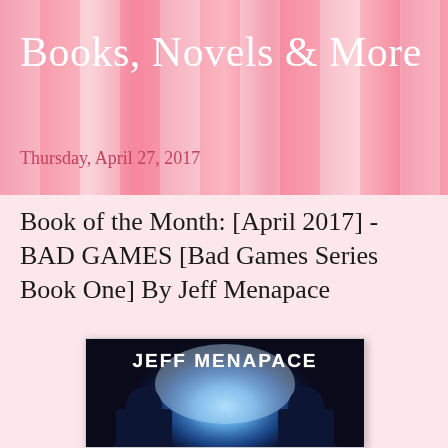Books, Novels & More
Thursday, April 27, 2017
Book of the Month: [April 2017] - BAD GAMES [Bad Games Series Book One] By Jeff Menapace
[Figure (photo): Book cover for BAD GAMES by Jeff Menapace showing two dark silhouetted figures against a glowing blue light background with the author name JEFF MENAPACE in large white distressed text at the top]